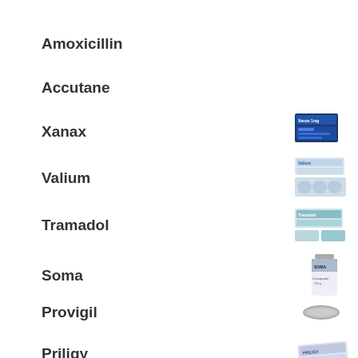Amoxicillin
Accutane
Xanax
Valium
Tramadol
Soma
Provigil
Priligy